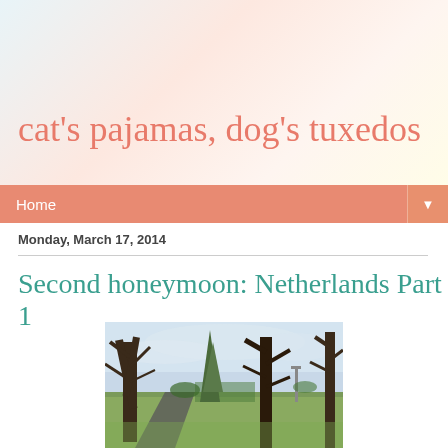cat's pajamas, dog's tuxedos
Home
Monday, March 17, 2014
Second honeymoon: Netherlands Part 1
[Figure (photo): Outdoor park scene with large bare winter trees, a path, and green grass, photographed in the Netherlands]